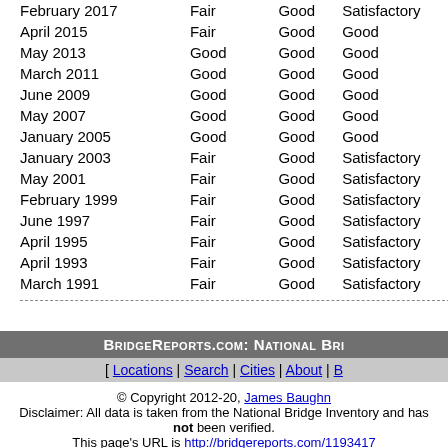| Date | Deck | Superstructure | Substructure |
| --- | --- | --- | --- |
| February 2017 | Fair | Good | Satisfactory |
| April 2015 | Fair | Good | Good |
| May 2013 | Good | Good | Good |
| March 2011 | Good | Good | Good |
| June 2009 | Good | Good | Good |
| May 2007 | Good | Good | Good |
| January 2005 | Good | Good | Good |
| January 2003 | Fair | Good | Satisfactory |
| May 2001 | Fair | Good | Satisfactory |
| February 1999 | Fair | Good | Satisfactory |
| June 1997 | Fair | Good | Satisfactory |
| April 1995 | Fair | Good | Satisfactory |
| April 1993 | Fair | Good | Satisfactory |
| March 1991 | Fair | Good | Satisfactory |
BridgeReports.com: National Bridge Inventory
[ Locations | Search | Cities | About | B…
© Copyright 2012-20, James Baughn
Disclaimer: All data is taken from the National Bridge Inventory and has not been verified.
This page's URL is http://bridgereports.com/1193417